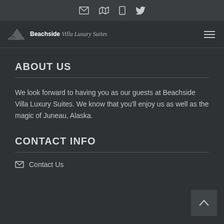[icon bar: envelope, map, tablet, twitter]
Beachside Villa Luxury Suites [hamburger menu]
ABOUT US
We look forward to having you as our guests at Beachside Villa Luxury Suites. We know that you'll enjoy us as well as the magic of Juneau, Alaska.
CONTACT INFO
Contact Us